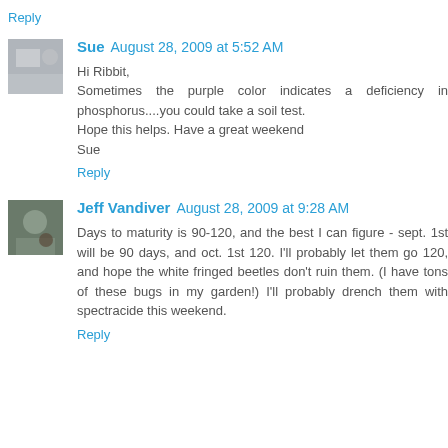Reply
Sue  August 28, 2009 at 5:52 AM
Hi Ribbit,
Sometimes the purple color indicates a deficiency in phosphorus....you could take a soil test.
Hope this helps. Have a great weekend
Sue
Reply
Jeff Vandiver  August 28, 2009 at 9:28 AM
Days to maturity is 90-120, and the best I can figure - sept. 1st will be 90 days, and oct. 1st 120. I'll probably let them go 120, and hope the white fringed beetles don't ruin them. (I have tons of these bugs in my garden!) I'll probably drench them with spectracide this weekend.
Reply